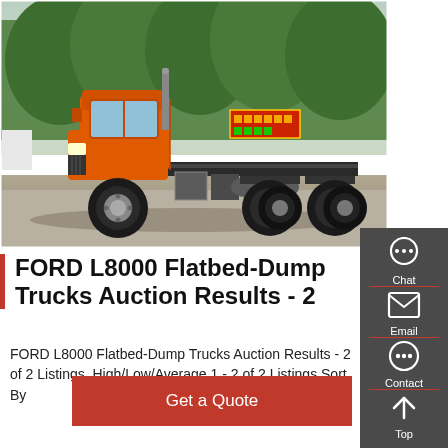[Figure (photo): Orange Ford L8000 flatbed/dump truck cab and chassis photographed outdoors, with trees in background and a red sign visible.]
FORD L8000 Flatbed-Dump Trucks Auction Results - 2
FORD L8000 Flatbed-Dump Trucks Auction Results - 2 of 2 Listings. High/Low/Average 1 - 2 of 2 Listings Sort By
Get a Quote